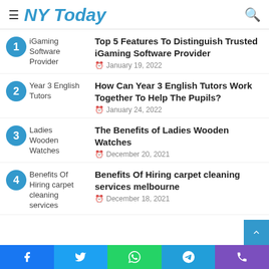NY Today
1 iGaming Software Provider — Top 5 Features To Distinguish Trusted iGaming Software Provider — January 19, 2022
2 Year 3 English Tutors — How Can Year 3 English Tutors Work Together To Help The Pupils? — January 24, 2022
3 Ladies Wooden Watches — The Benefits of Ladies Wooden Watches — December 20, 2021
4 Benefits Of Hiring carpet cleaning services — Benefits Of Hiring carpet cleaning services melbourne — December 18, 2021
Facebook Twitter WhatsApp Telegram Phone